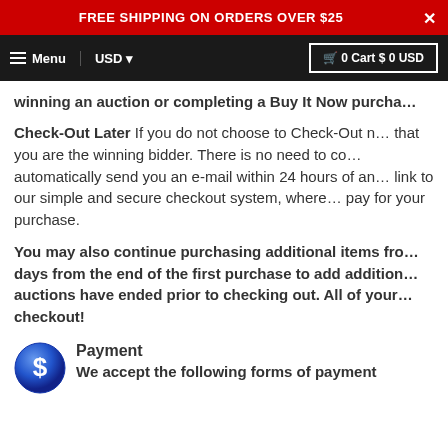FREE SHIPPING ON ORDERS OVER $25
Menu  USD  0 Cart $ 0 USD
winning an auction or completing a Buy It Now purcha...
Check-Out Later If you do not choose to Check-Out n... that you are the winning bidder. There is no need to co... automatically send you an e-mail within 24 hours of an... link to our simple and secure checkout system, where... pay for your purchase.
You may also continue purchasing additional items fro... days from the end of the first purchase to add addition... auctions have ended prior to checking out. All of your... checkout!
[Figure (illustration): Blue dollar sign coin icon]
Payment
We accept the following forms of payment